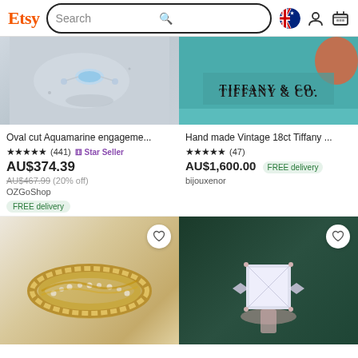Etsy — Search bar with Australian flag, user, and cart icons
[Figure (photo): Oval cut aquamarine engagement ring on stone surface, close-up]
Oval cut Aquamarine engageme...
★★★★★ (441) ⊕ Star Seller
AU$374.39
AU$467.99 (20% off)
OZGoShop
FREE delivery
[Figure (photo): Hand made vintage 18ct Tiffany ring on Tiffany & Co. blue box]
Hand made Vintage 18ct Tiffany ...
★★★★★ (47)
AU$1,600.00 FREE delivery
bijouxenor
[Figure (photo): Gold braided ring with pavé diamonds, close-up on white background]
[Figure (photo): Princess cut diamond engagement ring on dark teal velvet]